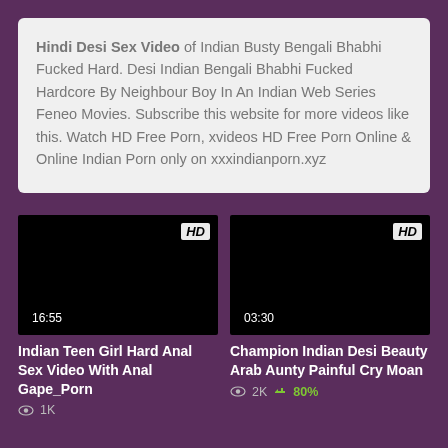Hindi Desi Sex Video of Indian Busty Bengali Bhabhi Fucked Hard. Desi Indian Bengali Bhabhi Fucked Hardcore By Neighbour Boy In An Indian Web Series Feneo Movies. Subscribe this website for more videos like this. Watch HD Free Porn, xvideos HD Free Porn Online & Online Indian Porn only on xxxindianporn.xyz
[Figure (screenshot): Black video thumbnail with HD badge top-right and duration 16:55 bottom-left]
Indian Teen Girl Hard Anal Sex Video With Anal Gape_Porn
1K views
[Figure (screenshot): Black video thumbnail with HD badge top-right and duration 03:30 bottom-left]
Champion Indian Desi Beauty Arab Aunty Painful Cry Moan
2K views 80%